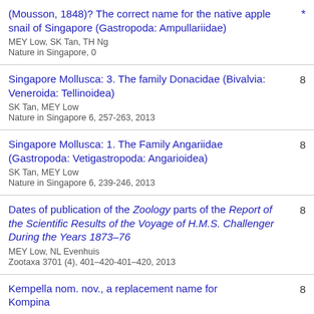(Mousson, 1848)? The correct name for the native apple snail of Singapore (Gastropoda: Ampullariidae)
MEY Low, SK Tan, TH Ng
Nature in Singapore, 0
[cited: *]
Singapore Mollusca: 3. The family Donacidae (Bivalvia: Veneroida: Tellinoidea)
SK Tan, MEY Low
Nature in Singapore 6, 257-263, 2013
[cited: 8]
Singapore Mollusca: 1. The Family Angariidae (Gastropoda: Vetigastropoda: Angarioidea)
SK Tan, MEY Low
Nature in Singapore 6, 239-246, 2013
[cited: 8]
Dates of publication of the Zoology parts of the Report of the Scientific Results of the Voyage of H.M.S. Challenger During the Years 1873–76
MEY Low, NL Evenhuis
Zootaxa 3701 (4), 401–420-401–420, 2013
[cited: 8]
Kempella nom. nov., a replacement name for Kompina
[cited: 8]